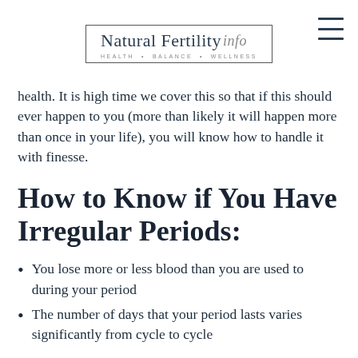Natural Fertility info — HEALTH • BALANCE • WELLNESS
health. It is high time we cover this so that if this should ever happen to you (more than likely it will happen more than once in your life), you will know how to handle it with finesse.
How to Know if You Have Irregular Periods:
You lose more or less blood than you are used to during your period
The number of days that your period lasts varies significantly from cycle to cycle